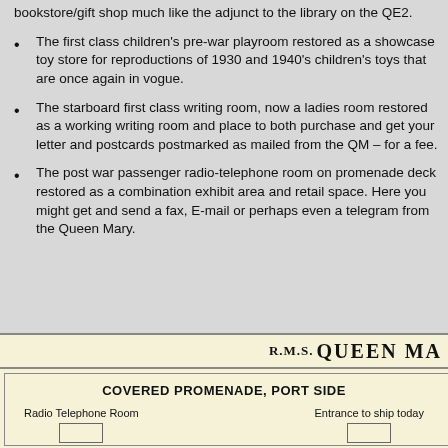bookstore/gift shop much like the adjunct to the library on the QE2.
The first class children's pre-war playroom restored as a showcase toy store for reproductions of 1930 and 1940's children's toys that are once again in vogue.
The starboard first class writing room, now a ladies room restored as a working writing room and place to both purchase and get your letter and postcards postmarked as mailed from the QM – for a fee.
The post war passenger radio-telephone room on promenade deck restored as a combination exhibit area and retail space. Here you might get and send a fax, E-mail or perhaps even a telegram from the Queen Mary.
[Figure (other): Partial ship deck plan diagram showing R.M.S. QUEEN MA[RY] header and COVERED PROMENADE, PORT SIDE with Radio Telephone Room on left and Entrance to ship today on right]